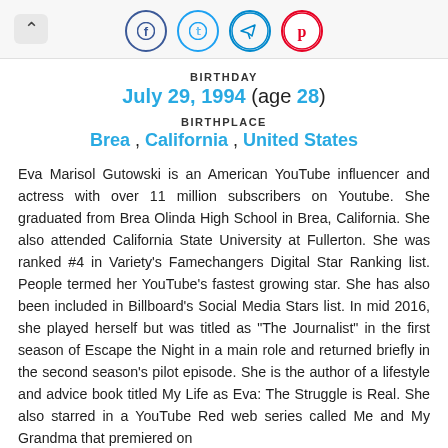[Figure (screenshot): Top navigation bar with back arrow and social media icons (Facebook, Twitter, Telegram, Pinterest)]
BIRTHDAY
July 29, 1994 (age 28)
BIRTHPLACE
Brea , California , United States
Eva Marisol Gutowski is an American YouTube influencer and actress with over 11 million subscribers on Youtube. She graduated from Brea Olinda High School in Brea, California. She also attended California State University at Fullerton. She was ranked #4 in Variety's Famechangers Digital Star Ranking list. People termed her YouTube's fastest growing star. She has also been included in Billboard's Social Media Stars list. In mid 2016, she played herself but was titled as "The Journalist" in the first season of Escape the Night in a main role and returned briefly in the second season's pilot episode. She is the author of a lifestyle and advice book titled My Life as Eva: The Struggle is Real. She also starred in a YouTube Red web series called Me and My Grandma that premiered on